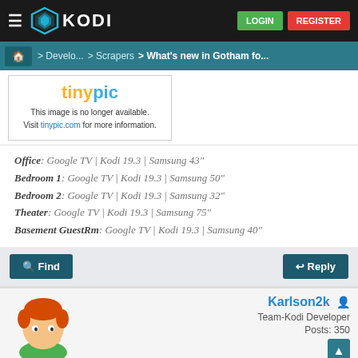KODI — LOGIN | REGISTER
Home > Develo... > Scrapers > What's new in Gotham fo...
[Figure (screenshot): Tinypic placeholder image saying 'This image is no longer available. Visit tinypic.com for more information.']
Office: Google TV | Kodi 19.3 | Samsung 43"
Bedroom 1: Google TV | Kodi 19.3 | Samsung 50"
Bedroom 2: Google TV | Kodi 19.3 | Samsung 32"
Theater: Google TV | Kodi 19.3 | Samsung 75"
Basement GuestRm: Google TV | Kodi 19.3 | Samsung 40"
Find | Reply
Karlson2k — Team-Kodi Developer — Posts: 350